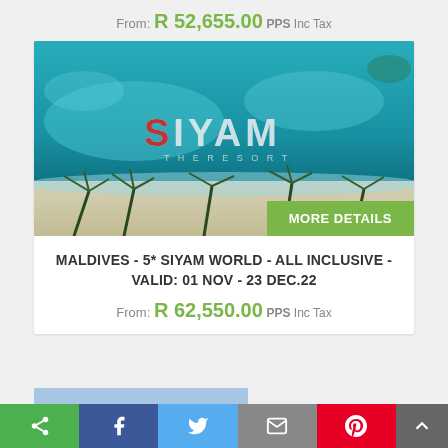From: R 52,655.00 PPS Inc Tax
[Figure (photo): Aerial photo of Siyam World Maldives resort with turquoise ocean, white sand beach, and palm trees. The resort name 'SIYAM' is spelled out with large letters on the water.]
MORE DETAILS
MALDIVES - 5* SIYAM WORLD - ALL INCLUSIVE - VALID: 01 NOV - 23 DEC.22
From: R 62,550.00 PPS Inc Tax